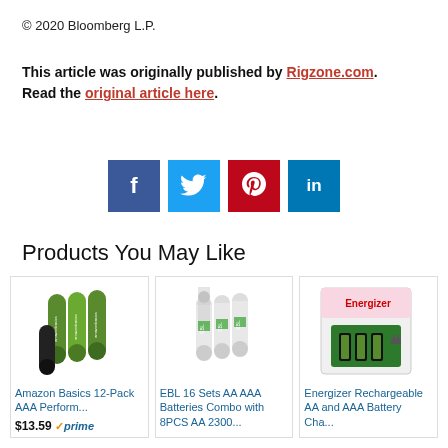© 2020 Bloomberg L.P.
This article was originally published by Rigzone.com. Read the original article here.
[Figure (infographic): Social media share buttons: Facebook (blue), Twitter (light blue), Pinterest (red), LinkedIn (blue)]
Products You May Like
[Figure (photo): Amazon Basics 12-Pack AAA rechargeable green batteries]
Amazon Basics 12-Pack AAA Perform...
$13.59  ✓prime
[Figure (photo): EBL 16 Sets AA AAA white rechargeable batteries combo]
EBL 16 Sets AA AAA Batteries Combo with 8PCS AA 2300...
[Figure (photo): Energizer Rechargeable AA and AAA Battery Charger package]
Energizer Rechargeable AA and AAA Battery Cha...